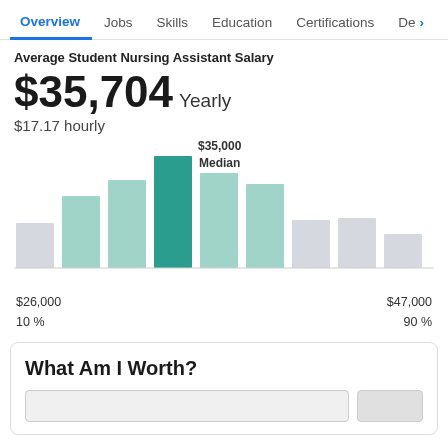Overview  Jobs  Skills  Education  Certifications  De›
Average Student Nursing Assistant Salary
$35,704 Yearly
$17.17 hourly
[Figure (bar-chart): Salary Distribution]
$26,000
10 %
$47,000
90 %
What Am I Worth?